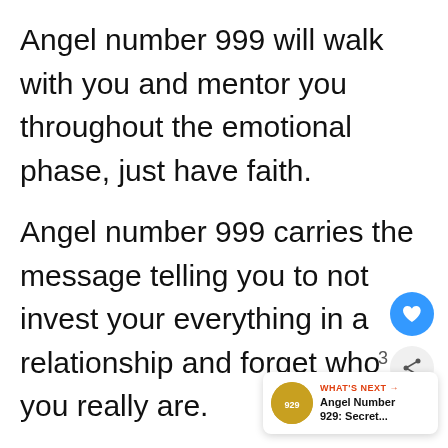Angel number 999 will walk with you and mentor you throughout the emotional phase, just have faith.
Angel number 999 carries the message telling you to not invest your everything in a relationship and forget who you really are.
You must not blame yourself or othe for a failed relationship. You must le to love yourself too while lovi someone else and not forget the real